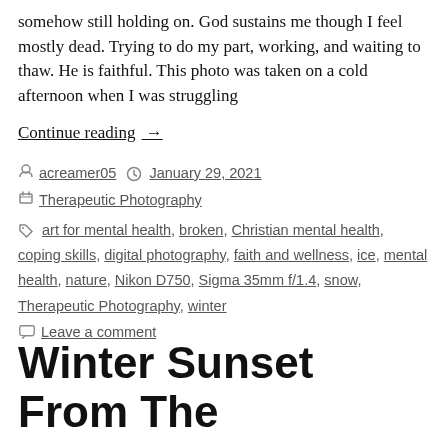somehow still holding on. God sustains me though I feel mostly dead. Trying to do my part, working, and waiting to thaw. He is faithful. This photo was taken on a cold afternoon when I was struggling
Continue reading →
By acreamer05   January 29, 2021
Therapeutic Photography
art for mental health, broken, Christian mental health, coping skills, digital photography, faith and wellness, ice, mental health, nature, Nikon D750, Sigma 35mm f/1.4, snow, Therapeutic Photography, winter
Leave a comment
Winter Sunset From The